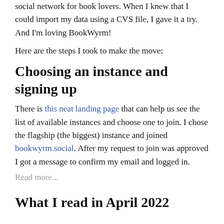social network for book lovers. When I knew that I could import my data using a CVS file, I gave it a try. And I'm loving BookWyrm!
Here are the steps I took to make the move:
Choosing an instance and signing up
There is this neat landing page that can help us see the list of available instances and choose one to join. I chose the flagship (the biggest) instance and joined bookwyrm.social. After my request to join was approved I got a message to confirm my email and logged in.
Read more...
What I read in April 2022